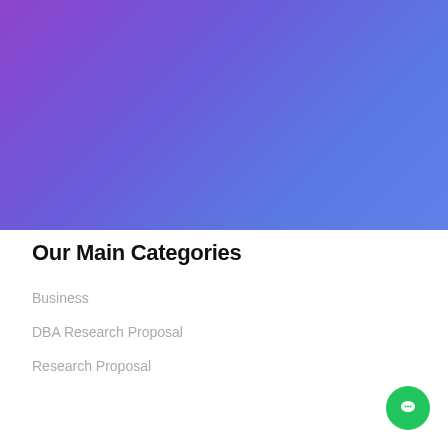[Figure (illustration): Purple to blue gradient banner filling the top portion of the page]
Our Main Categories
Business
DBA Research Proposal
Research Proposal
[Figure (other): Green circular chat/support button with white speech bubble icon in the bottom-right corner]